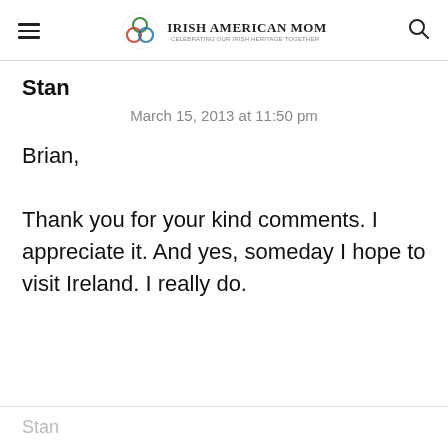Irish American Mom - Celebrating Our Irish Heritage Together
Stan
March 15, 2013 at 11:50 pm
Brian,

Thank you for your kind comments. I appreciate it. And yes, someday I hope to visit Ireland. I really do.
Stan